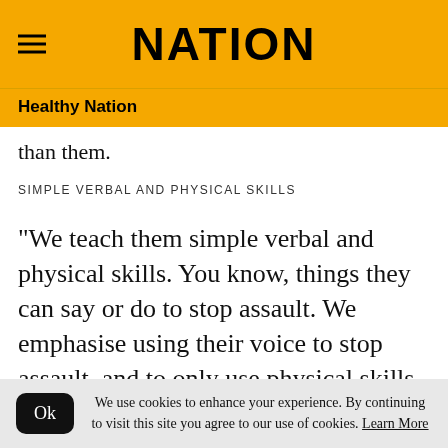NATION
Healthy Nation
than them.
SIMPLE VERBAL AND PHYSICAL SKILLS
“We teach them simple verbal and physical skills. You know, things they can say or do to stop assault. We emphasise using their voice to stop assault, and to only use physical skills as a last resort.
We use cookies to enhance your experience. By continuing to visit this site you agree to our use of cookies. Learn More